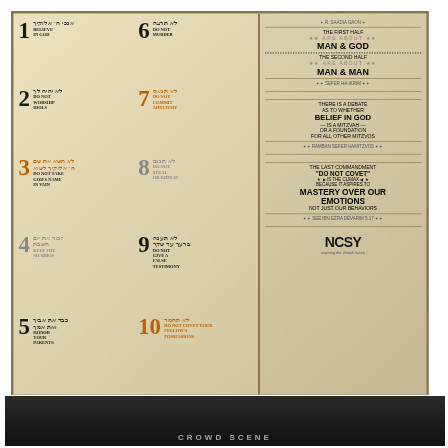[Figure (infographic): Ten Commandments infographic with Hebrew and English text, numbered 1-10. Left column shows commandments 1-5, center column shows commandments 6-10, right sidebar contains commentary about Man & God / Man & Man, debate about belief in God as mitzvah, and note about Do Not Covet being the climax commandment addressing mastery over emotions. NCSY logo at bottom right.]
[Figure (photo): Dark photograph at bottom of page showing a crowd or gathering, partially visible]